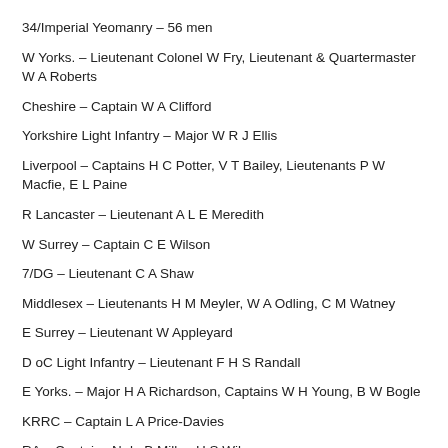34/Imperial Yeomanry – 56 men
W Yorks. – Lieutenant Colonel W Fry, Lieutenant & Quartermaster W A Roberts
Cheshire – Captain W A Clifford
Yorkshire Light Infantry – Major W R J Ellis
Liverpool – Captains H C Potter, V T Bailey, Lieutenants P W Macfie, E L Paine
R Lancaster – Lieutenant A L E Meredith
W Surrey – Captain C E Wilson
7/DG – Lieutenant C A Shaw
Middlesex – Lieutenants H M Meyler, W A Odling, C M Watney
E Surrey – Lieutenant W Appleyard
D oC Light Infantry – Lieutenant F H S Randall
E Yorks. – Major H A Richardson, Captains W H Young, B W Bogle
KRRC – Captain L A Price-Davies
RA – Captains N de B Miller, H S Wilson
Manchester – Lieutenant H Knox